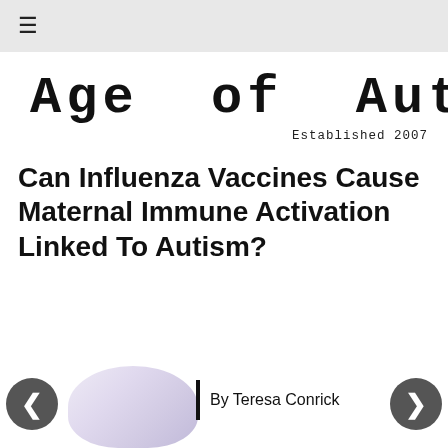≡
[Figure (logo): Age of Autism logo in typewriter font with red 'i', Established 2007]
Can Influenza Vaccines Cause Maternal Immune Activation Linked To Autism?
[Figure (illustration): Illustration of a brain]
By Teresa Conrick